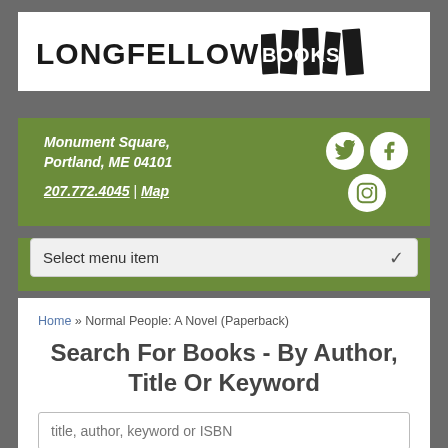[Figure (logo): Longfellow Books logo with stylized book spines forming letters in BOOKS]
Monument Square, Portland, ME 04101
207.772.4045 | Map
Select menu item
Home » Normal People: A Novel (Paperback)
Search For Books - By Author, Title Or Keyword
title, author, keyword or ISBN